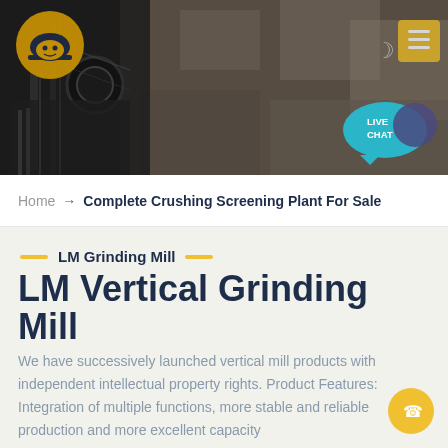[Figure (photo): Hero banner showing industrial mining/crushing machinery and rock face background with dark overlay. Orange/yellow logo in top left, moon icon and yellow menu button in top right, live chat bubble in right area.]
Home → Complete Crushing Screening Plant For Sale
LM Grinding Mill
LM Vertical Grinding Mill
We have successively launched vertical mill products with independent intellectual property rights. Product Features: Integration of multiple functions, more stable and reliable production and more excellent capacity